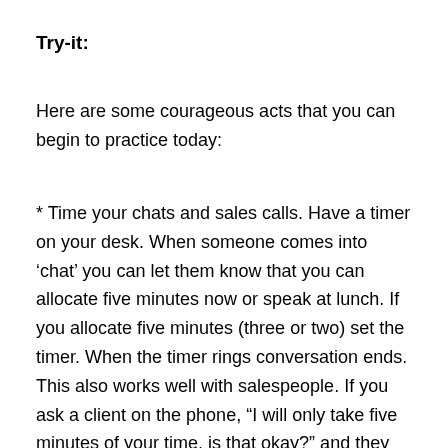Try-it:
Here are some courageous acts that you can begin to practice today:
* Time your chats and sales calls. Have a timer on your desk. When someone comes into ‘chat’ you can let them know that you can allocate five minutes now or speak at lunch. If you allocate five minutes (three or two) set the timer. When the timer rings conversation ends. This also works well with salespeople. If you ask a client on the phone, “I will only take five minutes of your time, is that okay?” and they agree, then set your timer. When the buzzer rings say, “My five minutes are up. Do you want me to continue or set up a more